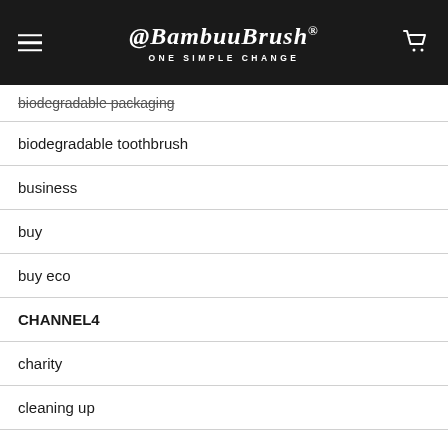@BambuuBrush® ONE SIMPLE CHANGE
biodegradable packaging
biodegradable toothbrush
business
buy
buy eco
CHANNEL4
charity
cleaning up